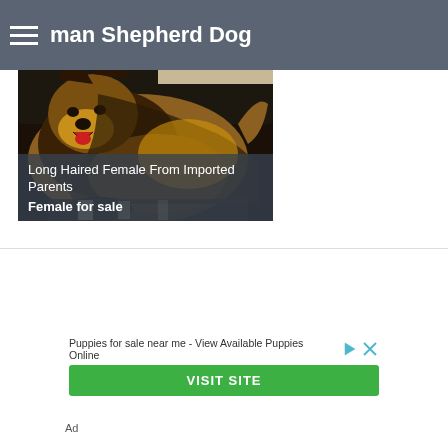German Shepherd Dog
[Figure (photo): Long-haired German Shepherd Dog lying on a couch/sofa, facing left with mouth open]
Long Haired Female From Imported Parents
Female for sale
Puppies for sale near me - View Available Puppies Online
VISIT SITE
Ad